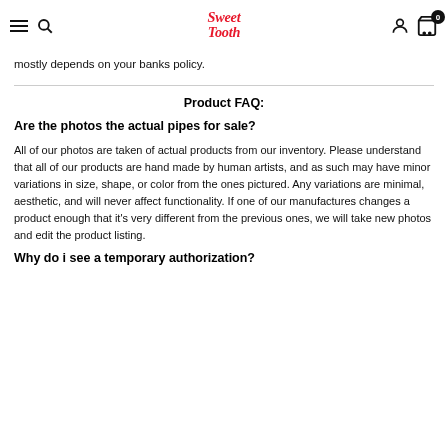Sweet Tooth — navigation header with hamburger, search, logo, user, and cart icons
mostly depends on your banks policy.
Product FAQ:
Are the photos the actual pipes for sale?
All of our photos are taken of actual products from our inventory. Please understand that all of our products are hand made by human artists, and as such may have minor variations in size, shape, or color from the ones pictured. Any variations are minimal, aesthetic, and will never affect functionality. If one of our manufactures changes a product enough that it's very different from the previous ones, we will take new photos and edit the product listing.
Why do i see a temporary authorization?